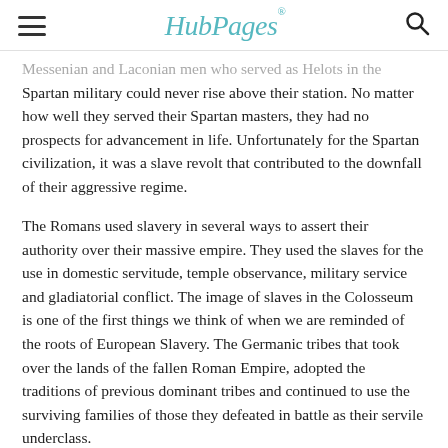HubPages
Messenian and Laconian men who served as Helots in the Spartan military could never rise above their station. No matter how well they served their Spartan masters, they had no prospects for advancement in life. Unfortunately for the Spartan civilization, it was a slave revolt that contributed to the downfall of their aggressive regime.
The Romans used slavery in several ways to assert their authority over their massive empire. They used the slaves for the use in domestic servitude, temple observance, military service and gladiatorial conflict. The image of slaves in the Colosseum is one of the first things we think of when we are reminded of the roots of European Slavery. The Germanic tribes that took over the lands of the fallen Roman Empire, adopted the traditions of previous dominant tribes and continued to use the surviving families of those they defeated in battle as their servile underclass.